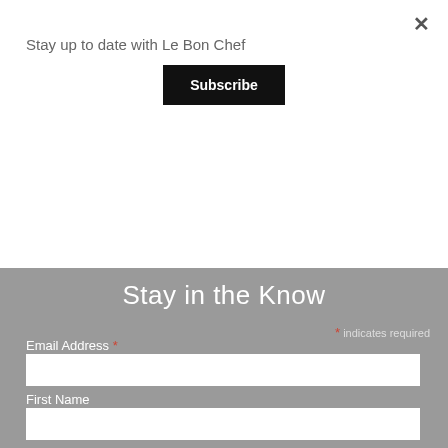Stay up to date with Le Bon Chef
Subscribe
Stay in the Know
* indicates required
Email Address *
First Name
Subscribe